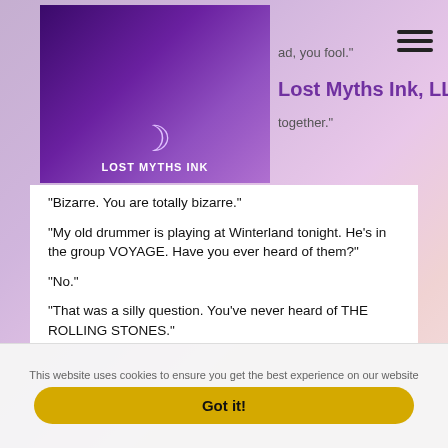Lost Myths Ink, LLC
"Bizarre. You are totally bizarre."
"My old drummer is playing at Winterland tonight. He's in the group VOYAGE. Have you ever heard of them?"
"No."
"That was a silly question. You've never heard of THE ROLLING STONES."
"Have too."
"Well, I promised him I'd do a guest star spot with them. We have to be there in forty-five minutes for the sound check."
"But I'm starving!"
"Pete can go and get us some sandwiches."
"Two for you."
This website uses cookies to ensure you get the best experience on our website